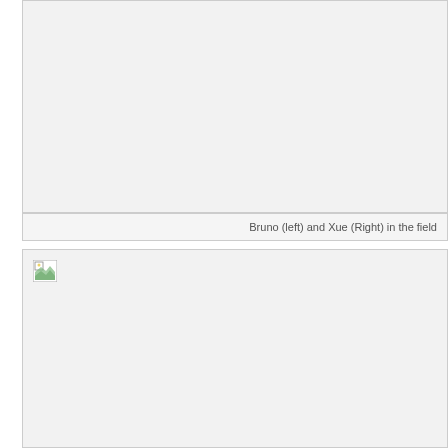[Figure (photo): Photo placeholder — Bruno (left) and Xue (Right) in the field]
Bruno (left) and Xue (Right) in the field
[Figure (photo): Second photo placeholder in the field]